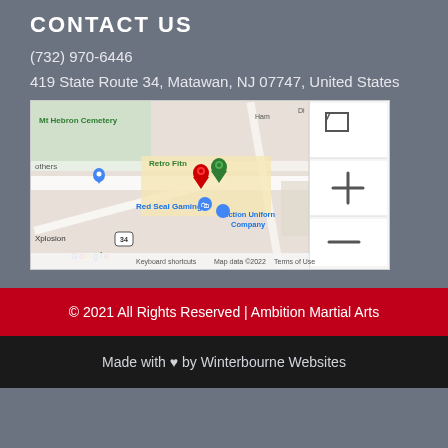CONTACT US
(732) 970-6446
419 State Route 34, Matawan, NJ 07747, United States
[Figure (map): Google Maps embed showing location near Retro Fitness, Red Seal Gaming, Action Uniform Company, Mt Hebron Cemetery, Xplosion, in Matawan NJ area. Two map pins visible (red and green). Map data ©2022.]
© 2021 All Rights Reserved | Ambition Martial Arts
Made with ♥ by Winterbourne Websites